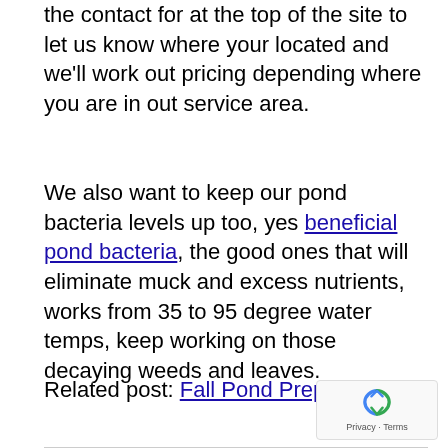the contact for at the top of the site to let us know where your located and we'll work out pricing depending where you are in out service area.
We also want to keep our pond bacteria levels up too, yes beneficial pond bacteria, the good ones that will eliminate muck and excess nutrients, works from 35 to 95 degree water temps, keep working on those decaying weeds and leaves.
Related post: Fall Pond Preparation